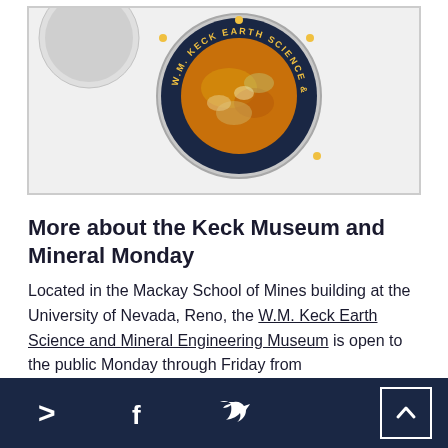[Figure (logo): W.M. Keck Earth Science & Mineral Engineering Museum circular logo with dark blue border and gold text, showing mineral specimen in center]
More about the Keck Museum and Mineral Monday
Located in the Mackay School of Mines building at the University of Nevada, Reno, the W.M. Keck Earth Science and Mineral Engineering Museum is open to the public Monday through Friday from
> [Facebook icon] [Twitter icon] [Back to top]